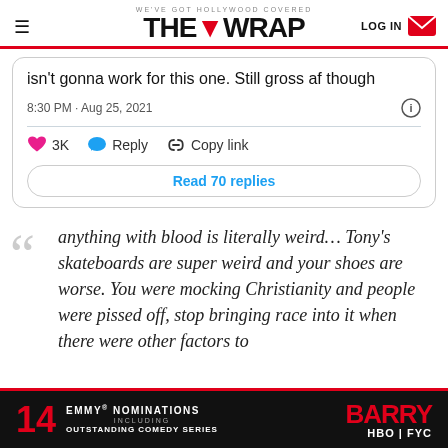WE'VE GOT HOLLYWOOD COVERED — THE WRAP — LOG IN
isn't gonna work for this one. Still gross af though
8:30 PM · Aug 25, 2021
3K  Reply  Copy link
Read 70 replies
anything with blood is literally weird… Tony's skateboards are super weird and your shoes are worse. You were mocking Christianity and people were pissed off, stop bringing race into it when there were other factors to
[Figure (other): Barry HBO FYC advertisement banner with 14 Emmy Nominations including Outstanding Comedy Series]